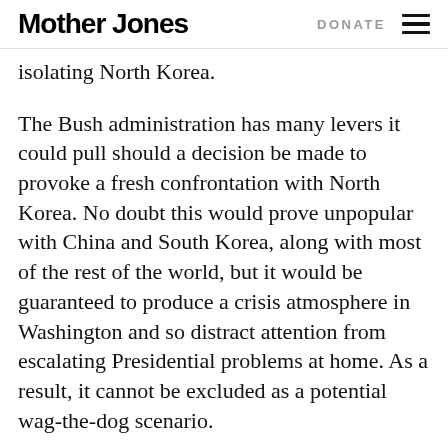Mother Jones | DONATE
isolating North Korea.
The Bush administration has many levers it could pull should a decision be made to provoke a fresh confrontation with North Korea. No doubt this would prove unpopular with China and South Korea, along with most of the rest of the world, but it would be guaranteed to produce a crisis atmosphere in Washington and so distract attention from escalating Presidential problems at home. As a result, it cannot be excluded as a potential wag-the-dog scenario.
Minus a microphone (or a leaker) in the Oval Office, it is impossible for outsiders to determine what